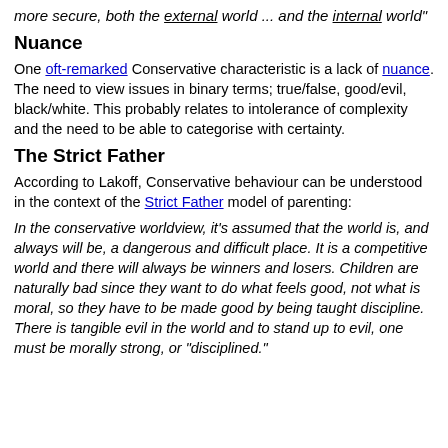more secure, both the external world ... and the internal world"
Nuance
One oft-remarked Conservative characteristic is a lack of nuance. The need to view issues in binary terms; true/false, good/evil, black/white. This probably relates to intolerance of complexity and the need to be able to categorise with certainty.
The Strict Father
According to Lakoff, Conservative behaviour can be understood in the context of the Strict Father model of parenting:
In the conservative worldview, it's assumed that the world is, and always will be, a dangerous and difficult place. It is a competitive world and there will always be winners and losers. Children are naturally bad since they want to do what feels good, not what is moral, so they have to be made good by being taught discipline. There is tangible evil in the world and to stand up to evil, one must be morally strong, or "disciplined."